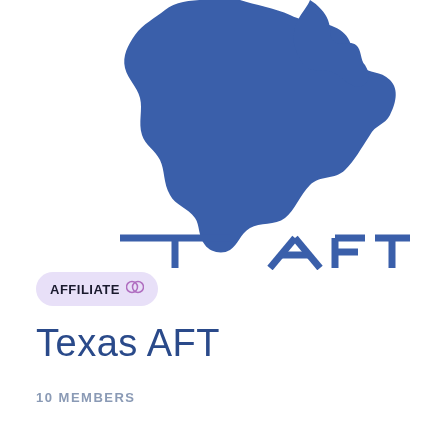[Figure (logo): Texas AFT logo — blue silhouette of North America/Texas with a torch, partially cropped at top. Below the map silhouette are the partially visible letters 'T' and 'AFT' in blue outline style.]
AFFILIATE
Texas AFT
10 MEMBERS